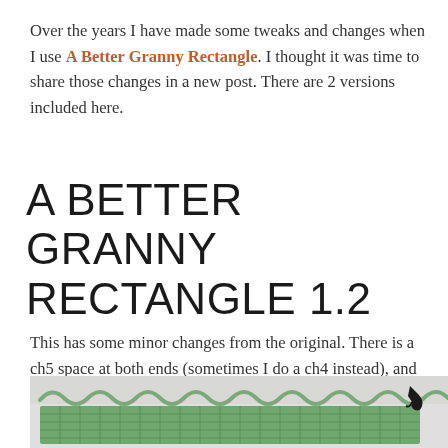Over the years I have made some tweaks and changes when I use A Better Granny Rectangle. I thought it was time to share those changes in a new post. There are 2 versions included here.
A BETTER GRANNY RECTANGLE 1.2
This has some minor changes from the original. There is a ch5 space at both ends (sometimes I do a ch4 instead), and ch2 instead of ch3 for the corners.
[Figure (photo): Photo of green crochet granny rectangle in progress, with a black crochet hook on the right side. The top edge shows a wavy chain pattern and the body shows the granny rectangle stitch pattern.]